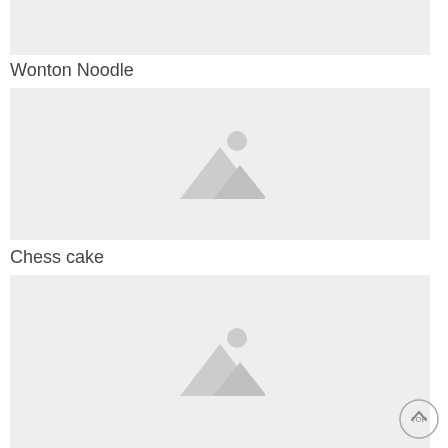[Figure (photo): Placeholder image at top, partially visible]
Wonton Noodle
[Figure (photo): Placeholder image for Wonton Noodle with mountain/landscape icon]
Chess cake
[Figure (photo): Placeholder image for Chess cake with mountain/landscape icon]
[Figure (other): TOP button circle icon in bottom right corner]